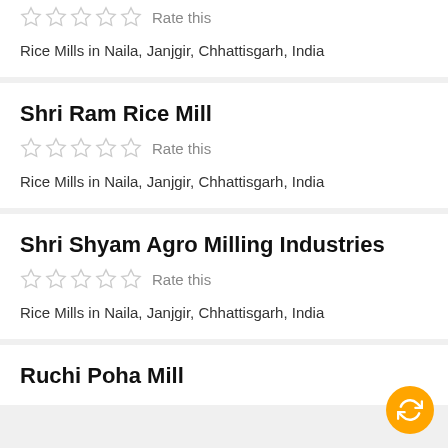[Figure (other): Star rating widget (5 empty stars) with 'Rate this' label]
Rice Mills in Naila, Janjgir, Chhattisgarh, India
Shri Ram Rice Mill
[Figure (other): Star rating widget (5 empty stars) with 'Rate this' label]
Rice Mills in Naila, Janjgir, Chhattisgarh, India
Shri Shyam Agro Milling Industries
[Figure (other): Star rating widget (5 empty stars) with 'Rate this' label]
Rice Mills in Naila, Janjgir, Chhattisgarh, India
Ruchi Poha Mill